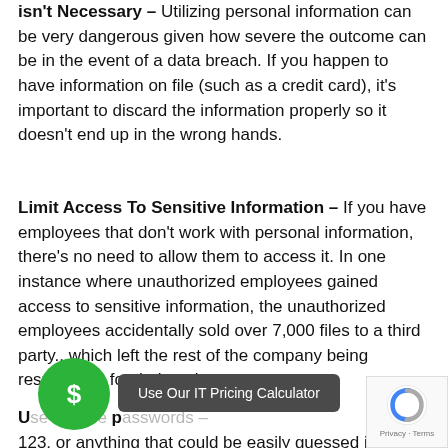isn't Necessary – Utilizing personal information can be very dangerous given how severe the outcome can be in the event of a data breach. If you happen to have information on file (such as a credit card), it's important to discard the information properly so it doesn't end up in the wrong hands.
Limit Access To Sensitive Information – If you have employees that don't work with personal information, there's no need to allow them to access it. In one instance where unauthorized employees gained access to sensitive information, the unauthorized employees accidentally sold over 7,000 files to a third party...which left the rest of the company being responsible for their actions.
Use Unique and Complex Passwords – 123, or anything that could be easily guessed is...